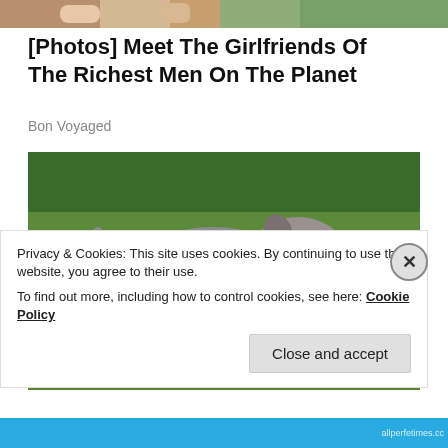[Figure (photo): Cropped top portion of a photo showing people, partially visible at the top of the page]
[Photos] Meet The Girlfriends Of The Richest Men On The Planet
Bon Voyaged
[Figure (photo): A large muscular gray and white pit bull dog standing on grass with green foliage in the background, mouth open and tongue showing]
Privacy & Cookies: This site uses cookies. By continuing to use this website, you agree to their use.
To find out more, including how to control cookies, see here: Cookie Policy
Close and accept